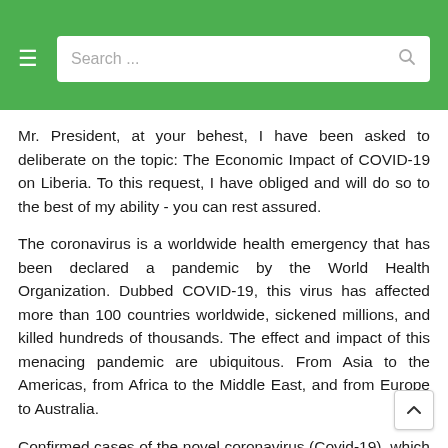Search...
Mr. President, at your behest, I have been asked to deliberate on the topic: The Economic Impact of COVID-19 on Liberia. To this request, I have obliged and will do so to the best of my ability - you can rest assured.
The coronavirus is a worldwide health emergency that has been declared a pandemic by the World Health Organization. Dubbed COVID-19, this virus has affected more than 100 countries worldwide, sickened millions, and killed hundreds of thousands. The effect and impact of this menacing pandemic are ubiquitous. From Asia to the Americas, from Africa to the Middle East, and from Europe to Australia.
Confirmed cases of the novel coronavirus (Covid-19), which first appeared in China at the end of last year, now exceed 115,000 as of March 10 and are likely to climb